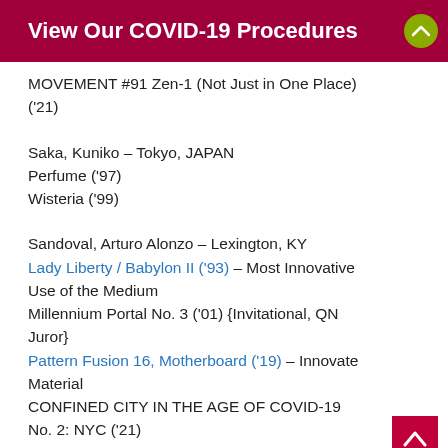View Our COVID-19 Procedures
MOVEMENT #91 Zen-1 (Not Just in One Place) ('21)
Saka, Kuniko – Tokyo, JAPAN
Perfume ('97)
Wisteria ('99)
Sandoval, Arturo Alonzo – Lexington, KY
Lady Liberty / Babylon II ('93) – Most Innovative Use of the Medium
Millennium Portal No. 3 ('01) {Invitational, QN Juror}
Pattern Fusion 16, Motherboard ('19) – Innovate Material
CONFINED CITY IN THE AGE OF COVID-19 No. 2: NYC ('21)